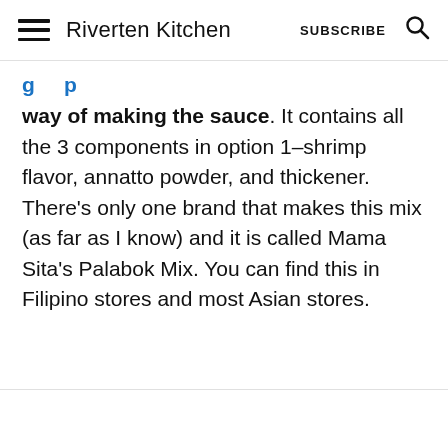Riverten Kitchen | SUBSCRIBE
way of making the sauce. It contains all the 3 components in option 1–shrimp flavor, annatto powder, and thickener. There's only one brand that makes this mix (as far as I know) and it is called Mama Sita's Palabok Mix. You can find this in Filipino stores and most Asian stores.